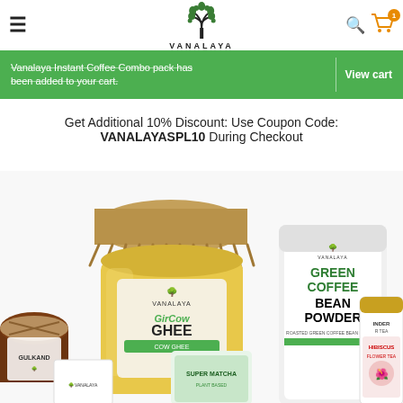Vanalaya — hamburger menu, logo, search, cart (1 item)
Vanalaya Instant Coffee Combo pack has been added to your cart. | View cart
Get Additional 10% Discount: Use Coupon Code: VANALAYASPL10 During Checkout
[Figure (photo): Vanalaya product group photo showing Gir Cow Ghee jar (yellow, burlap-topped), Gulkand jar, Green Coffee Bean Powder bag, Super Matcha bag, Hibiscus Flower Tea bottle, and other Vanalaya branded products on white background]